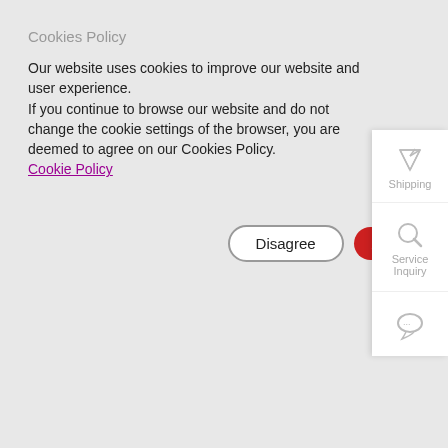Cookies Policy
Our website uses cookies to improve our website and user experience.
If you continue to browse our website and do not change the cookie settings of the browser, you are deemed to agree on our Cookies Policy.
Cookie Policy
Disagree  Ag...
[Figure (infographic): Shipping icon (paper plane) with label 'Shipping']
[Figure (infographic): Search/magnifying glass icon with label 'Service Inquiry']
[Figure (infographic): Chat/support icon]
[Figure (logo): SF Express logo - black circle with SF initials and red dot]
Home    Express Delivery    Service & Support    Sustaina...